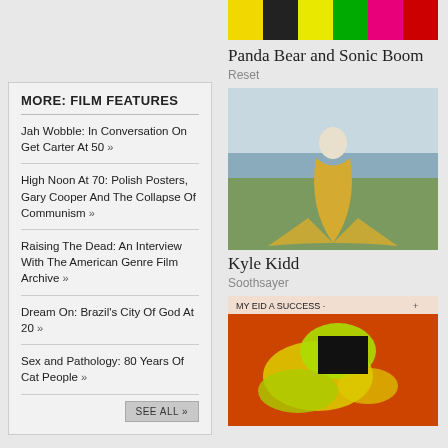[Figure (illustration): Colorful banner/album art for Panda Bear and Sonic Boom at top of right column]
Panda Bear and Sonic Boom
Reset
MORE: FILM FEATURES
Jah Wobble: In Conversation On Get Carter At 50 »
High Noon At 70: Polish Posters, Gary Cooper And The Collapse Of Communism »
Raising The Dead: An Interview With The American Genre Film Archive »
Dream On: Brazil's City Of God At 20 »
Sex and Pathology: 80 Years Of Cat People »
[Figure (photo): Person in flowing yellow gown standing by seaside looking away]
Kyle Kidd
Soothsayer
THE DIGEST
Read the choicest cuts from the Quietus archive: reviews.
[Figure (illustration): Abstract orange and yellow heat map style album art with text overlay]